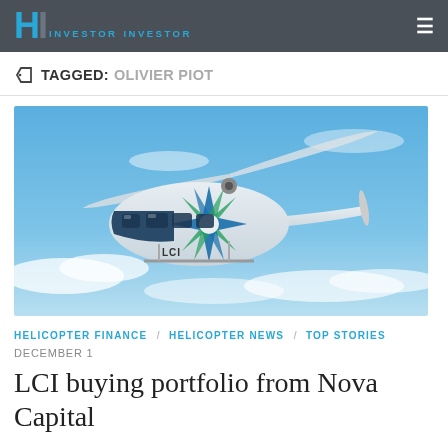HI INVESTOR INVESTOR
TAGGED: OLIVIER PIOT
[Figure (photo): A blue and white helicopter with LCI livery in flight against a blue sky with light clouds]
HELICOPTER FINANCE / HELICOPTER NEWS / TOP STORIES
DECEMBER 1
LCI buying portfolio from Nova Capital